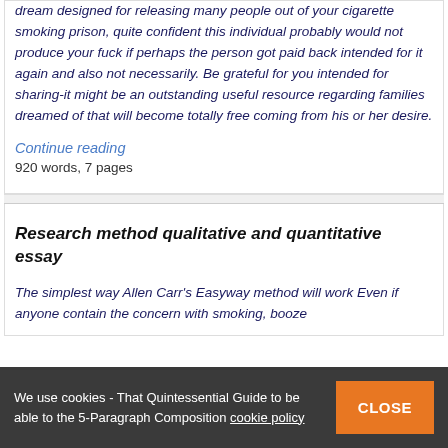dream designed for releasing many people out of your cigarette smoking prison, quite confident this individual probably would not produce your fuck if perhaps the person got paid back intended for it again and also not necessarily. Be grateful for you intended for sharing-it might be an outstanding useful resource regarding families dreamed of that will become totally free coming from his or her desire.
Continue reading
920 words, 7 pages
Research method qualitative and quantitative essay
The simplest way Allen Carr's Easyway method will work Even if anyone contain the concern with smoking, booze
We use cookies - That Quintessential Guide to be able to the 5-Paragraph Composition cookie policy
CLOSE